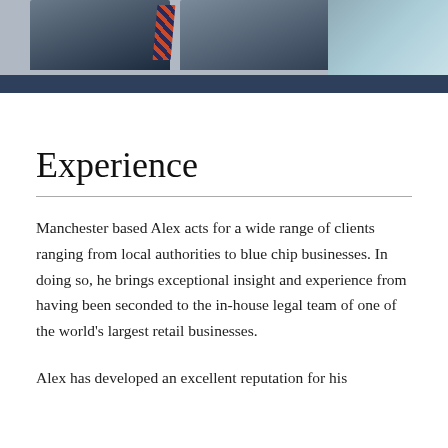[Figure (photo): Portrait photo of a man in a suit with a striped tie, shown from shoulders up, dark navy background bar below]
Experience
Manchester based Alex acts for a wide range of clients ranging from local authorities to blue chip businesses. In doing so, he brings exceptional insight and experience from having been seconded to the in-house legal team of one of the world's largest retail businesses.
Alex has developed an excellent reputation for his